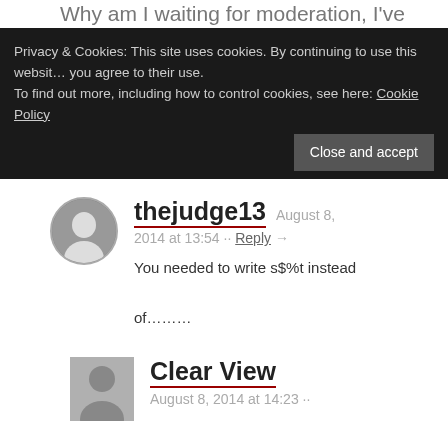Why am I waiting for moderation, I've
Privacy & Cookies: This site uses cookies. By continuing to use this website, you agree to their use.
To find out more, including how to control cookies, see here: Cookie Policy
Close and accept
thejudge13   August 8, 2014 at 13:54 ·· Reply →
You needed to write s$%t instead of………
Clear View   August 8, 2014 at 14:23 ··